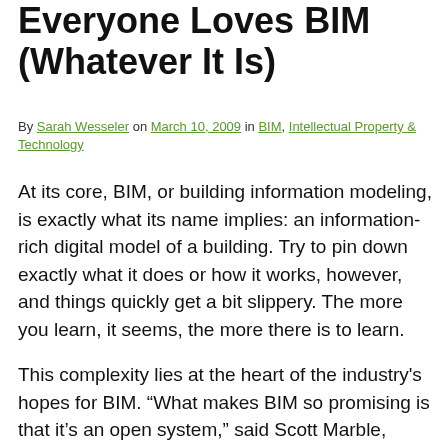Everyone Loves BIM (Whatever It Is)
By Sarah Wesseler on March 10, 2009 in BIM, Intellectual Property & Technology
At its core, BIM, or building information modeling, is exactly what its name implies: an information-rich digital model of a building. Try to pin down exactly what it does or how it works, however, and things quickly get a bit slippery. The more you learn, it seems, the more there is to learn.
This complexity lies at the heart of the industry's hopes for BIM. “What makes BIM so promising is that it’s an open system,” said Scott Marble, director of Columbia's Avery Digital Fabrication Lab, in his